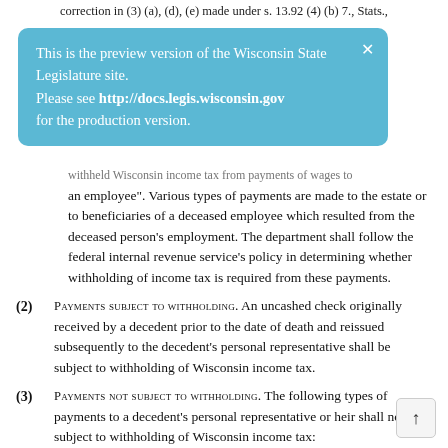correction in (3) (a), (d), (e) made under s. 13.92 (4) (b) 7., Stats.,
[Figure (infographic): Blue preview banner overlay: 'This is the preview version of the Wisconsin State Legislature site. Please see http://docs.legis.wisconsin.gov for the production version.' with an X close button.]
withheld Wisconsin income tax from payments of wages to an employee". Various types of payments are made to the estate or to beneficiaries of a deceased employee which resulted from the deceased person's employment. The department shall follow the federal internal revenue service's policy in determining whether withholding of income tax is required from these payments.
(2) PAYMENTS SUBJECT TO WITHHOLDING. An uncashed check originally received by a decedent prior to the date of death and reissued subsequently to the decedent's personal representative shall be subject to withholding of Wisconsin income tax.
(3) PAYMENTS NOT SUBJECT TO WITHHOLDING. The following types of payments to a decedent's personal representative or heir shall not be subject to withholding of Wisconsin income tax:
(a) Payments representing wages accrued to the date of death but not paid until after death.
(b) Accrued vacation and sick pay.
(c) Termination and severance pay.
(d) Death benefits such as pensions, annuities and distributions